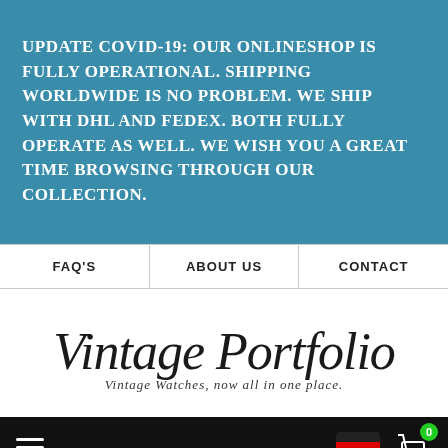UPDATE COVID-19: OUR ONLINESHOP IS FULLY OPERATIONAL. SHIPPING WORLDWIDE IS NO PROBLEM. WE SHIP WITH DHL AND FEDEX. BOTH FULLY OPERATE AS WELL. WE WISH YOU A GREAT TIME BROWSING THROUGH OUR COLLECTION.
FAQ's
ABOUT US
CONTACT
[Figure (logo): Vintage Portfolio logo in cursive script with subtitle: Vintage Watches, now all in one place.]
[Figure (screenshot): Dark navigation bar with hamburger menu icon, German flag icon, and shopping cart icon with badge showing 0]
[Figure (screenshot): Search bar with placeholder text: Search in 400+ Vintage V and a search magnifier icon]